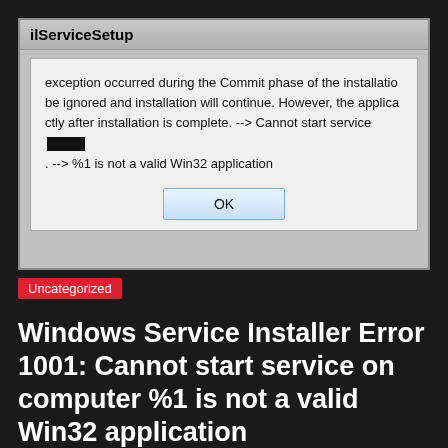[Figure (screenshot): Windows dialog box titled 'ilServiceSetup' showing an error message: 'exception occurred during the Commit phase of the installation. be ignored and installation will continue. However, the applica ctly after installation is complete. --> Cannot start service [redacted]. --> %1 is not a valid Win32 application' with an OK button.]
Uncategorized
Windows Service Installer Error 1001: Cannot start service on computer %1 is not a valid Win32 application
admin   2013-04-29